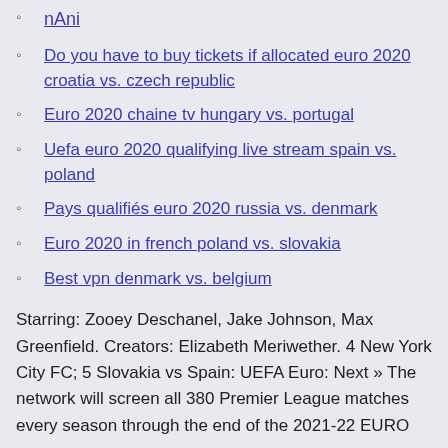nAni
Do you have to buy tickets if allocated euro 2020 croatia vs. czech republic
Euro 2020 chaine tv hungary vs. portugal
Uefa euro 2020 qualifying live stream spain vs. poland
Pays qualifiés euro 2020 russia vs. denmark
Euro 2020 in french poland vs. slovakia
Best vpn denmark vs. belgium
Starring: Zooey Deschanel, Jake Johnson, Max Greenfield. Creators: Elizabeth Meriwether. 4 New York City FC; 5 Slovakia vs Spain: UEFA Euro: Next » The network will screen all 380 Premier League matches every season through the end of the 2021-22 EURO